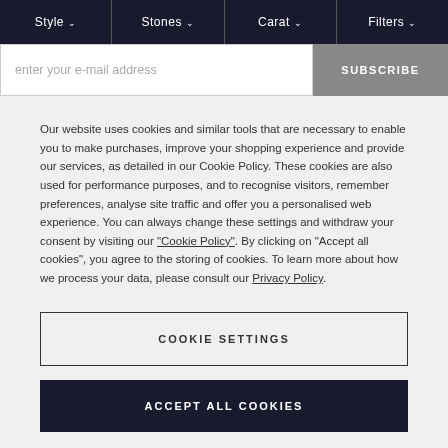Style ∨   Stones ∨   Carat ∨   Filters ∨
enter your e-mail address
SUBSCRIBE
Our website uses cookies and similar tools that are necessary to enable you to make purchases, improve your shopping experience and provide our services, as detailed in our Cookie Policy. These cookies are also used for performance purposes, and to recognise visitors, remember preferences, analyse site traffic and offer you a personalised web experience. You can always change these settings and withdraw your consent by visiting our "Cookie Policy". By clicking on "Accept all cookies", you agree to the storing of cookies. To learn more about how we process your data, please consult our Privacy Policy.
COOKIE SETTINGS
ACCEPT ALL COOKIES